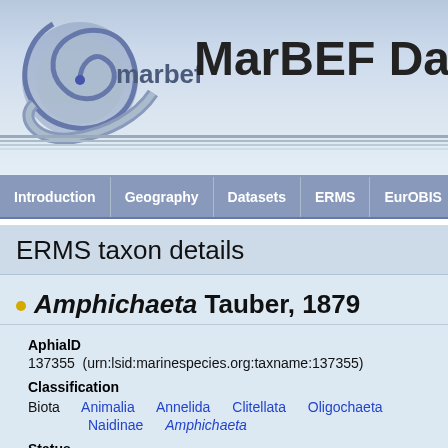MarBEF Da
Introduction | Geography | Datasets | ERMS | EurOBIS
ERMS taxon details
Amphichaeta Tauber, 1879
AphialD
137355  (urn:lsid:marinespecies.org:taxname:137355)
Classification
Biota  Animalia  Annelida  Clitellata  Oligochaeta  Naidinae  Amphichaeta
Status
accepted
Rank
Genus
Parent